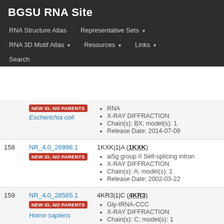BGSU RNA Site
RNA Structure Atlas | Representative Sets ▾ | RNA 3D Motif Atlas ▾ | Resources ▾ | Links ▾ | Search
| # | ID | Details |
| --- | --- | --- |
|  | NEW ID, NO PARENTS
Escherichia coli | RNA
X-RAY DIFFRACTION
Chain(s): BX; model(s): 1
Release Date: 2014-07-09 |
| 158 | NR_4.0_26998.1
NEW ID, NO PARENTS | 1KXK|1|A (1KXK)
ai5g group II Self-splicing intron
X-RAY DIFFRACTION
Chain(s): A; model(s): 1
Release Date: 2002-03-22 |
| 159 | NR_4.0_28565.1
NEW ID, NO PARENTS
Homo sapiens | 4KR3|1|C (4KR3)
Gly-tRNA-CCC
X-RAY DIFFRACTION
Chain(s): C; model(s): 1 |